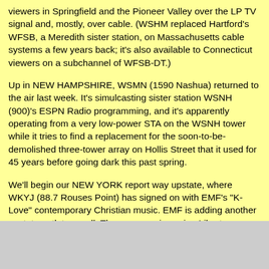viewers in Springfield and the Pioneer Valley over the LP TV signal and, mostly, over cable. (WSHM replaced Hartford's WFSB, a Meredith sister station, on Massachusetts cable systems a few years back; it's also available to Connecticut viewers on a subchannel of WFSB-DT.)
Up in NEW HAMPSHIRE, WSMN (1590 Nashua) returned to the air last week. It's simulcasting sister station WSNH (900)'s ESPN Radio programming, and it's apparently operating from a very low-power STA on the WSNH tower while it tries to find a replacement for the soon-to-be-demolished three-tower array on Hollis Street that it used for 45 years before going dark this past spring.
We'll begin our NEW YORK report way upstate, where WKYJ (88.7 Rouses Point) has signed on with EMF's "K-Love" contemporary Christian music. EMF is adding another upstate outlet as well. The company is paying Liberty Communications Family Broadcasting Network $300,000 for WWJS (99.1 Watertown), which will flip to "K-Love" any